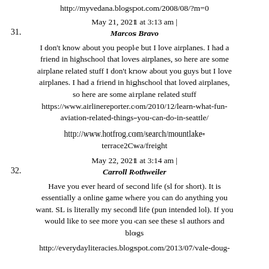http://myvedana.blogspot.com/2008/08/?m=0
May 21, 2021 at 3:13 am | Marcos Bravo
I don't know about you people but I love airplanes. I had a friend in highschool that loves airplanes, so here are some airplane related stuff I don't know about you guys but I love airplanes. I had a friend in highschool that loved airplanes, so here are some airplane related stuff https://www.airlinereporter.com/2010/12/learn-what-fun-aviation-related-things-you-can-do-in-seattle/
http://www.hotfrog.com/search/mountlake-terrace2Cwa/freight
May 22, 2021 at 3:14 am | Carroll Rothweiler
Have you ever heard of second life (sl for short). It is essentially a online game where you can do anything you want. SL is literally my second life (pun intended lol). If you would like to see more you can see these sl authors and blogs
http://everydayliteracies.blogspot.com/2013/07/vale-doug-